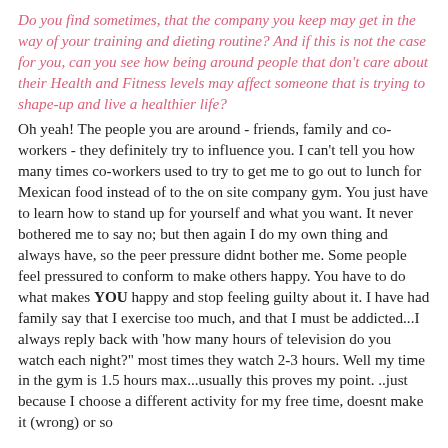Do you find sometimes, that the company you keep may get in the way of your training and dieting routine? And if this is not the case for you, can you see how being around people that don't care about their Health and Fitness levels may affect someone that is trying to shape-up and live a healthier life?
Oh yeah! The people you are around - friends, family and co-workers - they definitely try to influence you. I can't tell you how many times co-workers used to try to get me to go out to lunch for Mexican food instead of to the on site company gym. You just have to learn how to stand up for yourself and what you want. It never bothered me to say no; but then again I do my own thing and always have, so the peer pressure didnt bother me. Some people feel pressured to conform to make others happy. You have to do what makes YOU happy and stop feeling guilty about it. I have had family say that I exercise too much, and that I must be addicted...I always reply back with 'how many hours of television do you watch each night?" most times they watch 2-3 hours. Well my time in the gym is 1.5 hours max...usually this proves my point. ..just because I choose a different activity for my free time, doesnt make it (wrong) or so